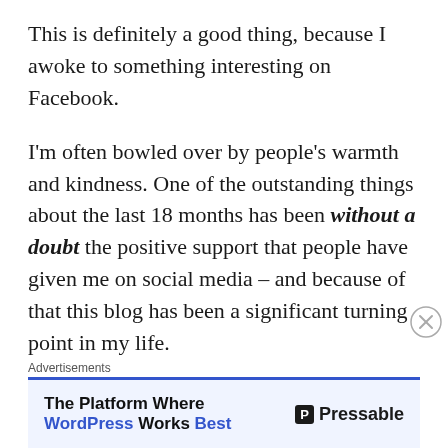This is definitely a good thing, because I awoke to something interesting on Facebook.
I'm often bowled over by people's warmth and kindness. One of the outstanding things about the last 18 months has been without a doubt the positive support that people have given me on social media – and because of that this blog has been a significant turning point in my life.
The boon of 'putting myself out there' on things like Instagram and WordPress is incredibly multi faceted though – and sometimes the friendship that's extended
Advertisements
[Figure (other): Advertisement banner for Pressable: 'The Platform Where WordPress Works Best' with Pressable logo on the right]